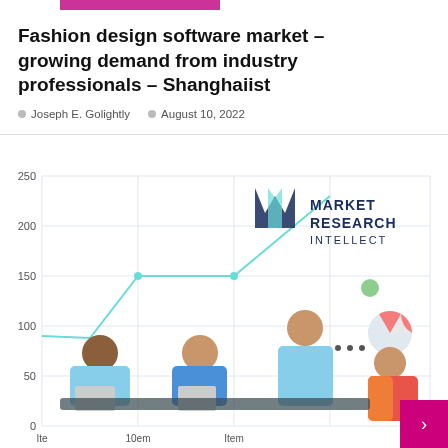Fashion design software market – growing demand from industry professionals – Shanghaiist
Joseph E. Golightly   August 10, 2022
[Figure (illustration): Market Research Intellect branded infographic showing a line chart with y-axis values 0, 50, 100, 150, 200, 250 and x-axis items labeled 'Item', overlaid with an illustration of business professionals sitting at a table with laptops, a standing presenter, and decorative chart elements including a pie chart and scatter dots.]